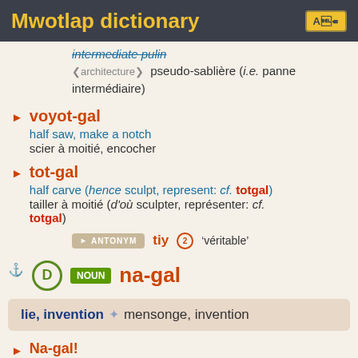Mwotlap dictionary
intermediate pulin
❮architecture❯  pseudo-sablière (i.e. panne intermédiaire)
voyot-gal — half saw, make a notch / scier à moitié, encocher
tot-gal — half carve (hence sculpt, represent: cf. totgal) / tailler à moitié (d'où sculpter, représenter: cf. totgal)
ANTONYM  tiy ②  'véritable'
D  NOUN  na-gal
lie, invention ✦ mensonge, invention
Na-gal!